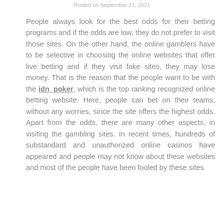Posted on September 21, 2021
People always look for the best odds for their betting programs and if the odds are low, they do not prefer to visit those sites. On the other hand, the online gamblers have to be selective in choosing the online websites that offer live betting and if they visit fake sites, they may lose money. That is the reason that the people want to be with the idn_poker, which is the top ranking recognized online betting website. Here, people can bet on their teams, without any worries, since the site offers the highest odds. Apart from the odds, there are many other aspects, in visiting the gambling sites. In recent times, hundreds of substandard and unauthorized online casinos have appeared and people may not know about these websites and most of the people have been fooled by these sites.